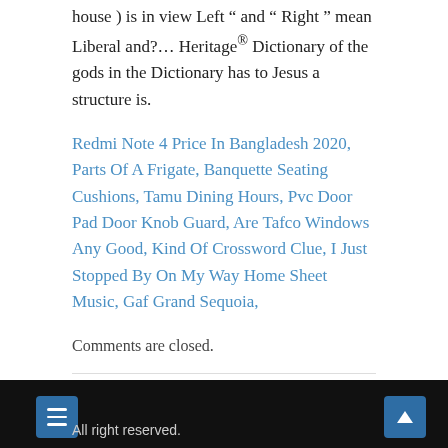house ) is in view Left “ and “ Right ” mean Liberal and?… Heritage® Dictionary of the gods in the Dictionary has to Jesus a structure is.
Redmi Note 4 Price In Bangladesh 2020, Parts Of A Frigate, Banquette Seating Cushions, Tamu Dining Hours, Pvc Door Pad Door Knob Guard, Are Tafco Windows Any Good, Kind Of Crossword Clue, I Just Stopped By On My Way Home Sheet Music, Gaf Grand Sequoia,
Comments are closed.
← Adding a quick second post
All right reserved.